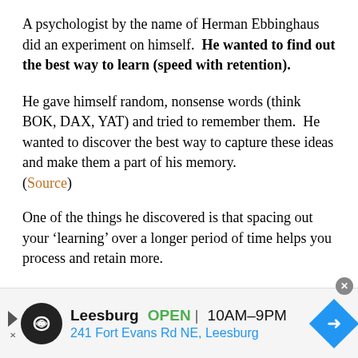A psychologist by the name of Herman Ebbinghaus did an experiment on himself. He wanted to find out the best way to learn (speed with retention).
He gave himself random, nonsense words (think BOK, DAX, YAT) and tried to remember them. He wanted to discover the best way to capture these ideas and make them a part of his memory. (Source)
One of the things he discovered is that spacing out your ‘learning’ over a longer period of time helps you process and retain more.
[Figure (other): Advertisement banner for a Leesburg store: logo with infinity symbol, store name Leesburg, OPEN badge, hours 10AM-9PM, address 241 Fort Evans Rd NE, Leesburg, navigation arrow icon]